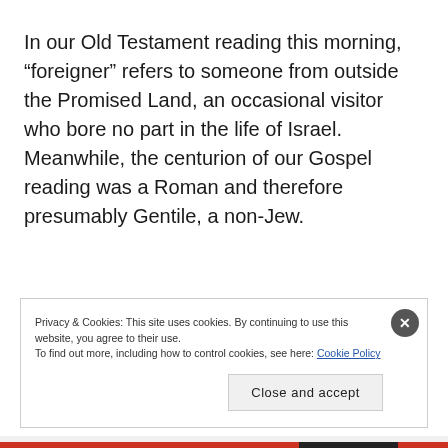In our Old Testament reading this morning, “foreigner” refers to someone from outside the Promised Land, an occasional visitor who bore no part in the life of Israel. Meanwhile, the centurion of our Gospel reading was a Roman and therefore presumably Gentile, a non-Jew.
Privacy & Cookies: This site uses cookies. By continuing to use this website, you agree to their use. To find out more, including how to control cookies, see here: Cookie Policy